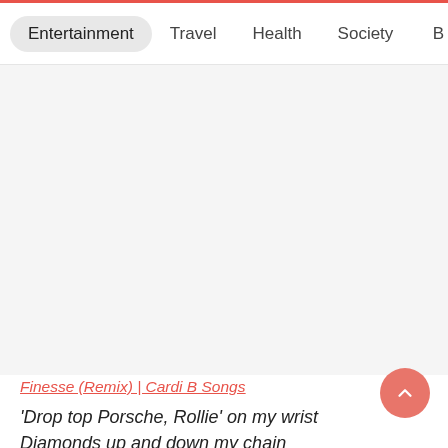Entertainment  Travel  Health  Society  B
[Figure (other): Advertisement or blank gray area below navigation bar]
Finesse (Remix) | Cardi B Songs
'Drop top Porsche, Rollie' on my wrist
Diamonds up and down my chain
Cardi B, straight stuntin' can't tell me nothing'